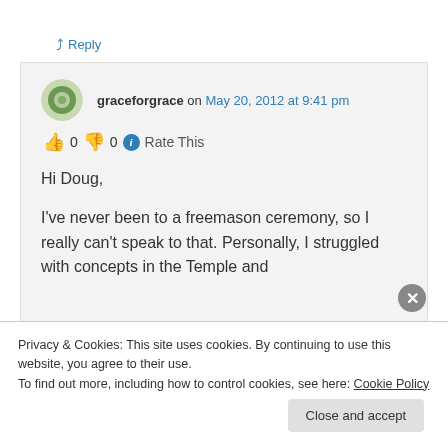↳ Reply
graceforgrace on May 20, 2012 at 9:41 pm
👍 0 👎 0 ℹ Rate This
Hi Doug,

I've never been to a freemason ceremony, so I really can't speak to that. Personally, I struggled with concepts in the Temple and
Privacy & Cookies: This site uses cookies. By continuing to use this website, you agree to their use.
To find out more, including how to control cookies, see here: Cookie Policy
Close and accept